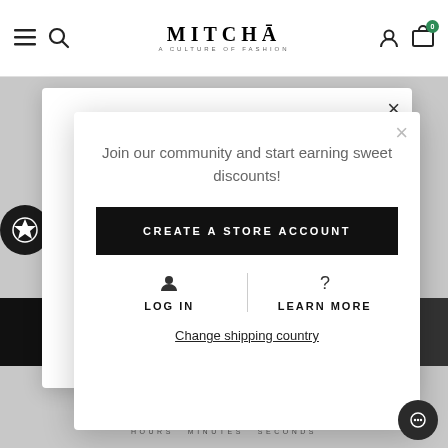[Figure (screenshot): MITCHA fashion website navigation bar with hamburger menu, search icon, logo 'MITCHA - A CULTURE OF FASHION', user icon, and cart icon with badge 0]
[Figure (screenshot): Website background content partially visible behind modal: letter M, bullet points, black button block]
Join our community and start earning sweet discounts!
CREATE A STORE ACCOUNT
LOG IN
LEARN MORE
Change shipping country
0 0 : 3 8 : 0 4
HOURS    MINUTES    SECONDS